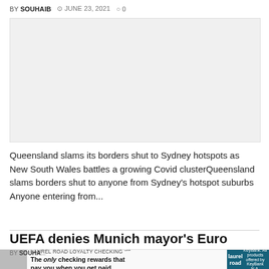BY SOUHAIB  JUNE 23, 2021  0
[Figure (photo): Placeholder image area, light grey background]
Queensland slams its borders shut to Sydney hotspots as New South Wales battles a growing Covid clusterQueensland slams borders shut to anyone from Sydney's hotspot suburbs Anyone entering from...
UEFA denies Munich mayor's Euro 2020 rainbow stadium gesture
[Figure (advertisement): Laurel Road Loyalty Checking ad with woman photo, text: The only checking rewards that pay you when you get paid. Laurel Road logo on right.]